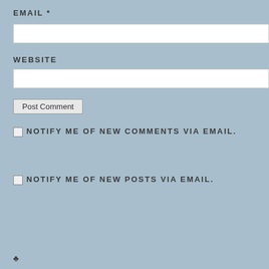EMAIL *
[Figure (other): Email input text field (white rectangle)]
WEBSITE
[Figure (other): Website input text field (white rectangle)]
Post Comment
NOTIFY ME OF NEW COMMENTS VIA EMAIL.
NOTIFY ME OF NEW POSTS VIA EMAIL.
♣